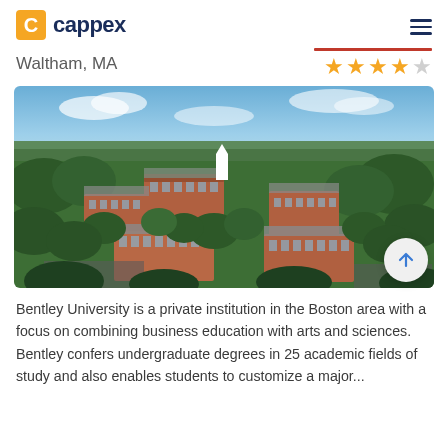cappex
Waltham, MA
[Figure (photo): Aerial drone photo of Bentley University campus in Waltham, MA showing brick buildings surrounded by green trees under a blue sky]
Bentley University is a private institution in the Boston area with a focus on combining business education with arts and sciences. Bentley confers undergraduate degrees in 25 academic fields of study and also enables students to customize a major...